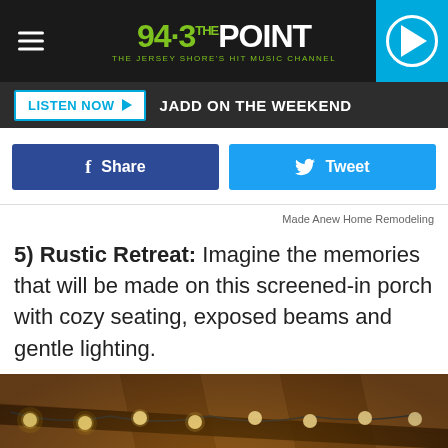94.3 THE POINT - THE JERSEY SHORE'S HIT MUSIC CHANNEL
LISTEN NOW  JADD ON THE WEEKEND
Share   Tweet
Made Anew Home Remodeling
5) Rustic Retreat: Imagine the memories that will be made on this screened-in porch with cozy seating, exposed beams and gentle lighting.
[Figure (photo): Interior view of a rustic screened-in porch ceiling with exposed wooden beams and string lights with globe bulbs hanging along the beams.]